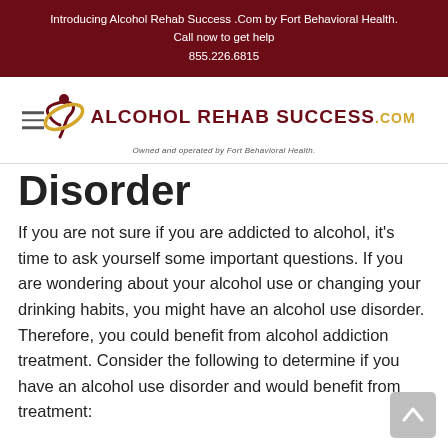Introducing Alcohol Rehab Success .Com by Fort Behavioral Health.
Call now to get help
855.226.6815
[Figure (logo): Alcohol Rehab Success .com logo with figure icon and tagline 'Owned and operated by Fort Behavioral Health.']
Disorder
If you are not sure if you are addicted to alcohol, it's time to ask yourself some important questions. If you are wondering about your alcohol use or changing your drinking habits, you might have an alcohol use disorder. Therefore, you could benefit from alcohol addiction treatment. Consider the following to determine if you have an alcohol use disorder and would benefit from treatment: